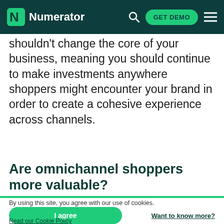Numerator | GET DEMO
shouldn't change the core of your business, meaning you should continue to make investments anywhere shoppers might encounter your brand in order to create a cohesive experience across channels.
Are omnichannel shoppers more valuable?
By using this site, you agree with our use of cookies.
I agree
Want to know more?
Read our Cookie Policy